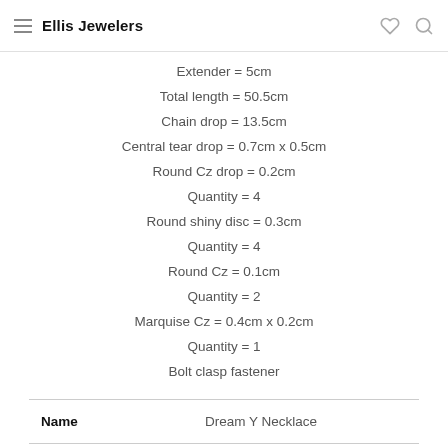Ellis Jewelers
Extender = 5cm
Total length = 50.5cm
Chain drop = 13.5cm
Central tear drop = 0.7cm x 0.5cm
Round Cz drop = 0.2cm
Quantity = 4
Round shiny disc = 0.3cm
Quantity = 4
Round Cz = 0.1cm
Quantity = 2
Marquise Cz = 0.4cm x 0.2cm
Quantity = 1
Bolt clasp fastener
| Name | Dream Y Necklace |
| --- | --- |
| Stock Number | N016-01H |